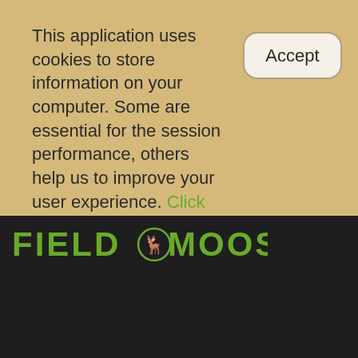This application uses cookies to store information on your computer. Some are essential for the session performance, others help us to improve your user experience. Click Privacy Policy to learn more.
[Figure (logo): Field & Moose logo in green uppercase text with moose head icon]
[Figure (infographic): Social media icons: Twitter, LinkedIn, Facebook, Instagram in dark rounded square boxes]
© 2021 F